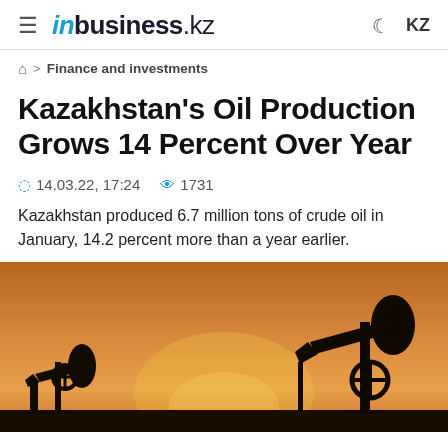inbusiness.kz
Finance and investments
Kazakhstan's Oil Production Grows 14 Percent Over Year
14.03.22, 17:24   1731
Kazakhstan produced 6.7 million tons of crude oil in January, 14.2 percent more than a year earlier.
[Figure (photo): Silhouette of oil pump jacks against an orange sunset sky]